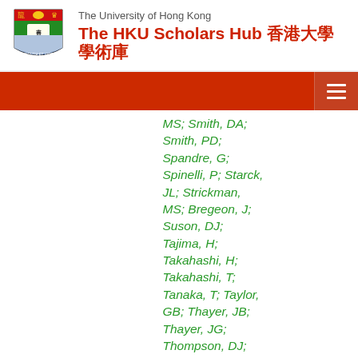The University of Hong Kong — The HKU Scholars Hub 香港大學學術庫
MS; Smith, DA; Smith, PD; Spandre, G; Spinelli, P; Starck, JL; Strickman, MS; Bregeon, J; Suson, DJ; Tajima, H; Takahashi, H; Takahashi, T; Tanaka, T; Taylor, GB; Thayer, JB; Thayer, JG; Thompson, DJ; Tibaldo, L; Brez, A; Torres, DF; Tosti, G; Tramacere, A;